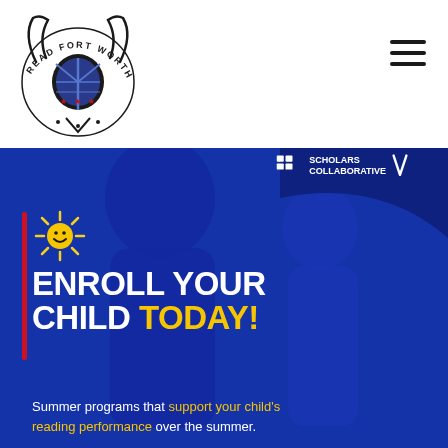[Figure (logo): Read Fort Worth logo — longhorn skull with wings and star, text 'READ FORT WORTH' around the top arc]
[Figure (infographic): Hero banner with blue overlay showing two children. Contains sun icon, red vertical bar, large white and yellow text 'ENROLL YOUR CHILD TODAY!' and subtitle text about summer reading programs. Scholars Collaborative badge in top right corner.]
ENROLL YOUR CHILD TODAY!
Summer programs that support your child's reading performance over the summer.